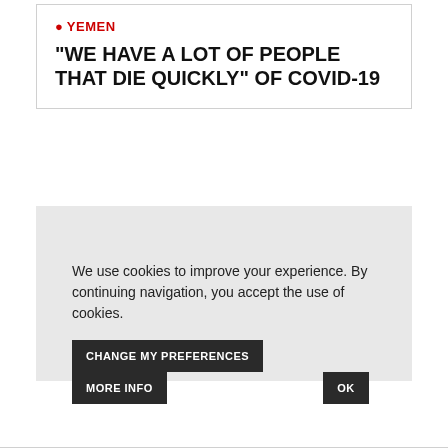YEMEN
"WE HAVE A LOT OF PEOPLE THAT DIE QUICKLY" OF COVID-19
[Figure (photo): Grey placeholder image area for article photo]
We use cookies to improve your experience. By continuing navigation, you accept the use of cookies.
CHANGE MY PREFERENCES | MORE INFO | OK